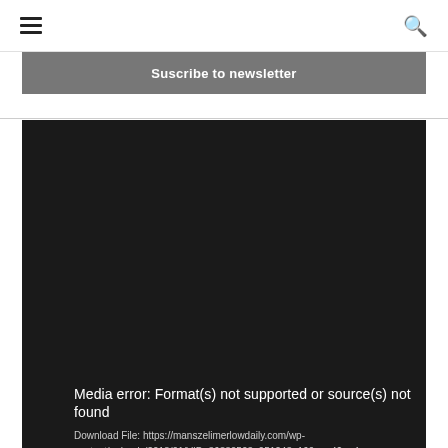☰ [menu icon] | [search icon]
Suscribe to newsletter
[Figure (screenshot): Dark video player area showing a media error message on a black background. Text reads: Media error: Format(s) not supported or source(s) not found. Download File: https://manszelimerlowdaily.com/wp-content/uploads/2018/01/VID_86880503_051248_169.mp4?_=4]